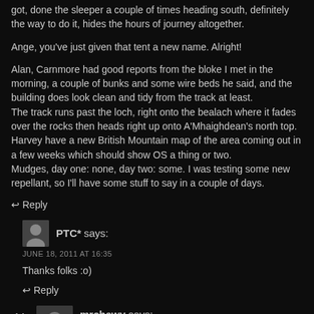got, done the sleeper a couple of times heading south, definitely the way to do it, hides the hours of journey altogether.
Ange, you've just given that tent a new name. Alright!
Alan, Carnmore had good reports from the bloke I met in the morning, a couple of bunks and some wire beds he said, and the building does look clean and tidy from the track at least.
The track runs past the loch, right onto the bealach where it fades over the rocks then heads right up onto A'Mhaighdean's north top. Harvey have a new British Mountain map of the area coming out in a few weeks which should show OS a thing or two.
Mudges, day one: none, day two: some. I was testing some new repellant, so I'll have some stuff to say in a couple of days.
↩ Reply
PTC* says:
JUNE 18, 2011 AT 16:35
Thanks folks :o)
↩ Reply
14. mrchewy says:
JUNE 18, 2011 AT 16:38